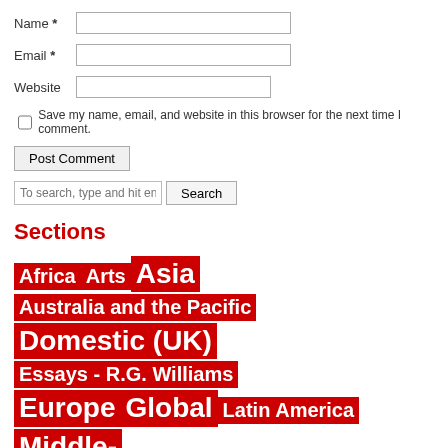Name *
Email *
Website
Save my name, email, and website in this browser for the next time I comment.
Post Comment
To search, type and hit enter
Sections
Africa
Arts
Asia
Australia and the Pacific
Domestic (UK)
Essays - R.G. Williams
Europe
Global
Latin America
Middle-East
North America
Photos
Political Poetry
Review
Sport